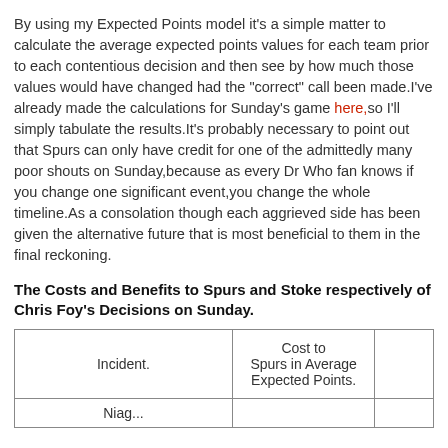By using my Expected Points model it's a simple matter to calculate the average expected points values for each team prior to each contentious decision and then see by how much those values would have changed had the "correct" call been made.I've already made the calculations for Sunday's game here,so I'll simply tabulate the results.It's probably necessary to point out that Spurs can only have credit for one of the admittedly many poor shouts on Sunday,because as every Dr Who fan knows if you change one significant event,you change the whole timeline.As a consolation though each aggrieved side has been given the alternative future that is most beneficial to them in the final reckoning.
The Costs and Benefits to Spurs and Stoke respectively of Chris Foy's Decisions on Sunday.
| Incident. | Cost to Spurs in Average Expected Points. |  |
| --- | --- | --- |
| Niag... |  |  |